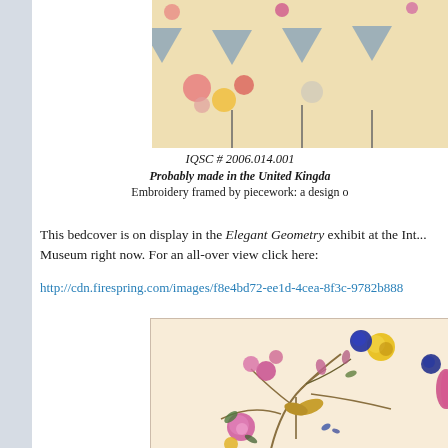[Figure (photo): Close-up photo of a quilt with embroidery and piecework pattern, showing triangular geometric shapes and floral appliqués on a light background.]
IQSC # 2006.014.001
Probably made in the United Kingda...
Embroidery framed by piecework: a design o...
This bedcover is on display in the Elegant Geometry exhibit at the Int... Museum right now. For an all-over view click here:
http://cdn.firespring.com/images/f8e4bd72-ee1d-4cea-8f3c-9782b888...
[Figure (photo): Close-up photo of embroidered floral design on a light fabric, showing pink roses, yellow pansies, dark blue flowers, and decorative stems on a cream/beige background.]